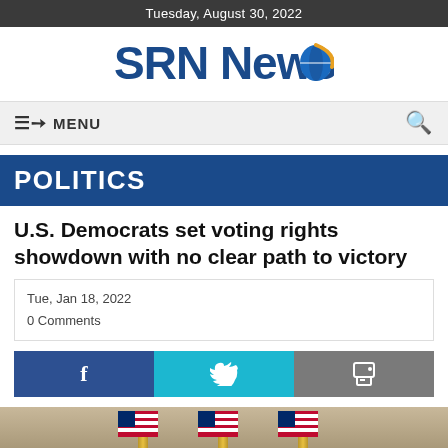Tuesday, August 30, 2022
[Figure (logo): SRN News logo with blue text and globe icon]
≡↔ MENU
POLITICS
U.S. Democrats set voting rights showdown with no clear path to victory
Tue, Jan 18, 2022
0 Comments
[Figure (screenshot): Social share buttons: Facebook (f), Twitter (bird icon), Print (printer icon)]
[Figure (photo): Photo of American flags in background, partially visible at bottom of page]